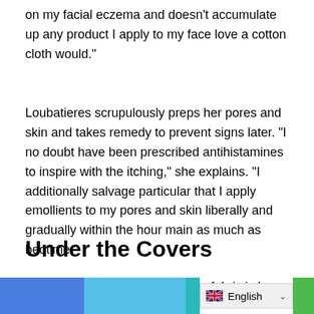on my facial eczema and doesn't accumulate up any product I apply to my face love a cotton cloth would."
Loubatieres scrupulously preps her pores and skin and takes remedy to prevent signs later. “I no doubt have been prescribed antihistamines to inspire with the itching,” she explains. “I additionally salvage particular that I apply emollients to my pores and skin liberally and gradually within the hour main as much as bedtime.”
Under the Covers
To Findley, the unreal of bedding fabric is less crucial than the